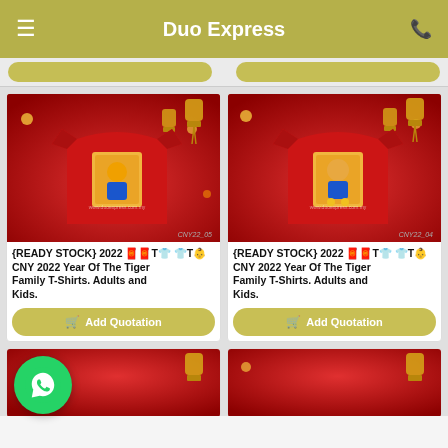Duo Express
[Figure (photo): Red CNY 2022 Year of the Tiger family t-shirt with tiger character graphic, product code CNY22_05]
{READY STOCK} 2022 🧧🧧T👕 👕T👶 CNY 2022 Year Of The Tiger Family T-Shirts. Adults and Kids.
Add Quotation
[Figure (photo): Red CNY 2022 Year of the Tiger family t-shirt with tiger/dog character graphic, product code CNY22_04]
{READY STOCK} 2022 🧧🧧T👕 👕T👶 CNY 2022 Year Of The Tiger Family T-Shirts. Adults and Kids.
Add Quotation
[Figure (photo): Partial view of another red CNY t-shirt product card at bottom left]
[Figure (photo): Partial view of another red CNY t-shirt product card at bottom right]